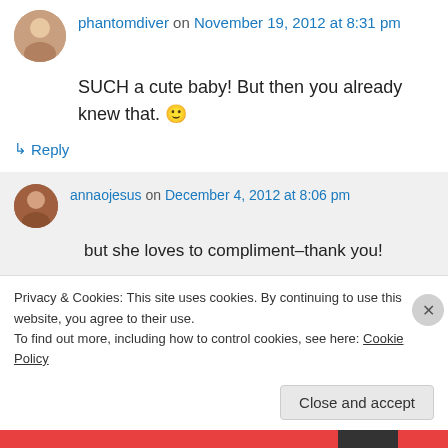phantomdiver on November 19, 2012 at 8:31 pm
SUCH a cute baby! But then you already knew that. 🙂
↳ Reply
annaojesus on December 4, 2012 at 8:06 pm
but she loves to compliment–thank you!
↳ Reply
Privacy & Cookies: This site uses cookies. By continuing to use this website, you agree to their use.
To find out more, including how to control cookies, see here: Cookie Policy
Close and accept